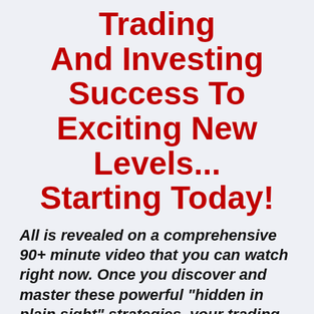Trading And Investing Success To Exciting New Levels... Starting Today!
All is revealed on a comprehensive 90+ minute video that you can watch right now. Once you discover and master these powerful "hidden in plain sight" strategies, your trading success will immediately